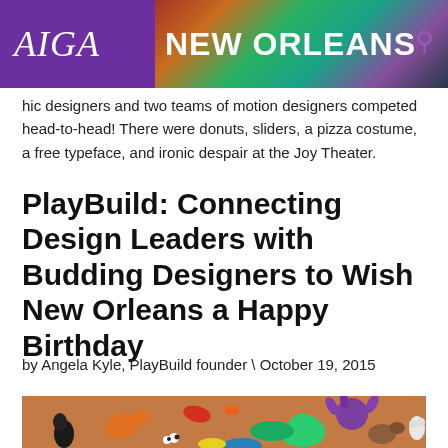AIGA NEW ORLEANS
...hic designers and two teams of motion designers competed head-to-head! There were donuts, sliders, a pizza costume, a free typeface, and ironic despair at the Joy Theater.
PlayBuild: Connecting Design Leaders with Budding Designers to Wish New Orleans a Happy Birthday
by Angela Kyle, PlayBuild founder \ October 19, 2015
[Figure (photo): Clay/playdough figures arranged on an orange/brown background, including colorful animal-like sculptures made from modeling clay.]